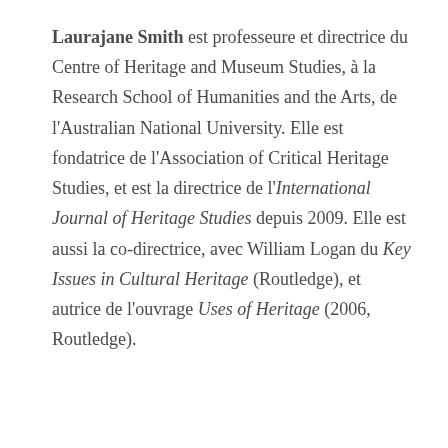Laurajane Smith est professeure et directrice du Centre of Heritage and Museum Studies, à la Research School of Humanities and the Arts, de l'Australian National University. Elle est fondatrice de l'Association of Critical Heritage Studies, et est la directrice de l'International Journal of Heritage Studies depuis 2009. Elle est aussi la co-directrice, avec William Logan du Key Issues in Cultural Heritage (Routledge), et autrice de l'ouvrage Uses of Heritage (2006, Routledge).